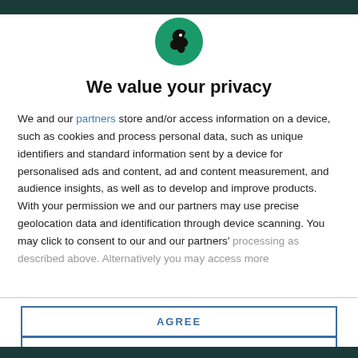[Figure (logo): Circular green logo with a black bird/raven silhouette]
We value your privacy
We and our partners store and/or access information on a device, such as cookies and process personal data, such as unique identifiers and standard information sent by a device for personalised ads and content, ad and content measurement, and audience insights, as well as to develop and improve products. With your permission we and our partners may use precise geolocation data and identification through device scanning. You may click to consent to our and our partners' processing as described above. Alternatively you may access more
AGREE
MORE OPTIONS